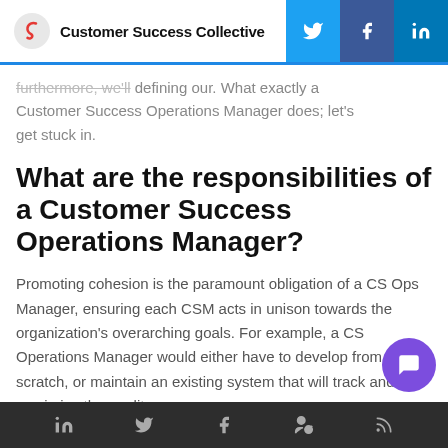Customer Success Collective
furthermore, we'll be defining our What exactly a Customer Success Operations Manager does; let's get stuck in.
What are the responsibilities of a Customer Success Operations Manager?
Promoting cohesion is the paramount obligation of a CS Ops Manager, ensuring each CSM acts in unison towards the organization's overarching goals. For example, a CS Operations Manager would either have to develop from scratch, or maintain an existing system that will track and maximize the quality,
LinkedIn Twitter Facebook People RSS